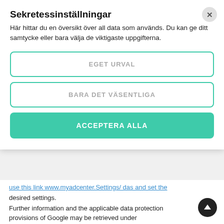Sekretessinställningar
Här hittar du en översikt över all data som används. Du kan ge ditt samtycke eller bara välja de viktigaste uppgifterna.
EGET URVAL
BARA DET VÄSENTLIGA
ACCEPTERA ALLA
use this link www.myadcenter.Settings/ das and set the desired settings.
Further information and the applicable data protection provisions of Google may be retrieved under https://www.google.com/intl/en/policies/privacy/
18. Data protection provisions about the application